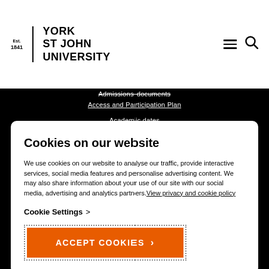Est. 1841 | YORK ST JOHN UNIVERSITY
Admissions documents
Access and Participation Plan
Academic dates
Programme specifications
Cookies on our website
We use cookies on our website to analyse our traffic, provide interactive services, social media features and personalise advertising content. We may also share information about your use of our site with our social media, advertising and analytics partners. View privacy and cookie policy
Cookie Settings >
ACCEPT COOKIES >
Modern slavery and human trafficking statement   Modify